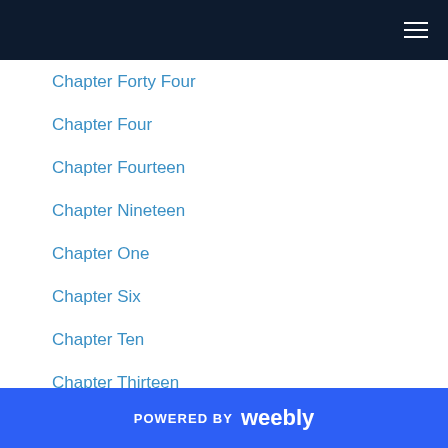Chapter Forty Four
Chapter Four
Chapter Fourteen
Chapter Nineteen
Chapter One
Chapter Six
Chapter Ten
Chapter Thirteen
Chapter Thirty
Chapter Thirty Eight
Chapter Thirty Five
Chapter Thirty Four
POWERED BY weebly